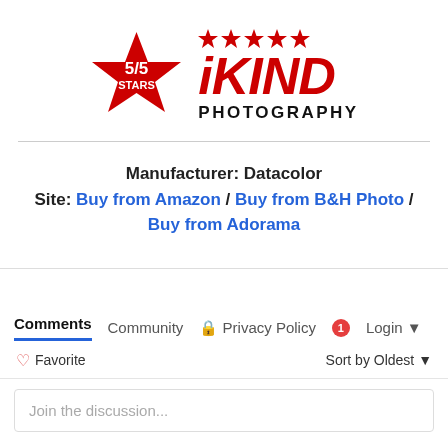[Figure (logo): iKIND Photography logo with a red star badge showing 5/5 STARS on the left, five red star icons above bold italic red text 'iKIND' and black text 'PHOTOGRAPHY' on the right]
Manufacturer: Datacolor
Site: Buy from Amazon / Buy from B&H Photo / Buy from Adorama
Comments  Community  🔒 Privacy Policy  1  Login
♡ Favorite   Sort by Oldest
Join the discussion...